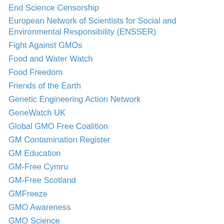End Science Censorship
European Network of Scientists for Social and Environmental Responsibility (ENSSER)
Fight Against GMOs
Food and Water Watch
Food Freedom
Friends of the Earth
Genetic Engineering Action Network
GeneWatch UK
Global GMO Free Coalition
GM Contamination Register
GM Education
GM-Free Cymru
GM-Free Scotland
GMFreeze
GMO Awareness
GMO Science
GMO-Free Regions
GMOEvidence
GMOInside